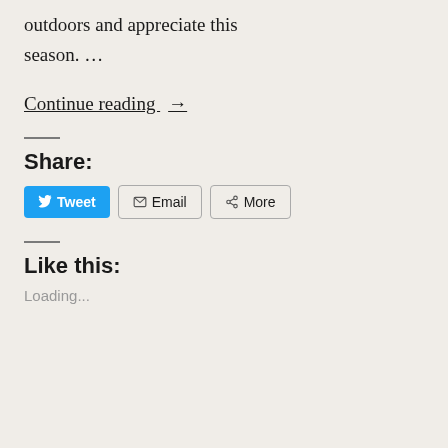outdoors and appreciate this season. …
Continue reading →
Share:
Tweet  Email  More
Like this:
Loading...